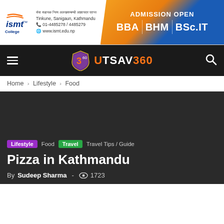[Figure (logo): ISMT College advertisement banner with admission open for BBA, BHM, BSc.IT programs]
UTSAV360 navigation header with hamburger menu and search icon
Home » Lifestyle » Food
[Figure (photo): Dark hero image background for Pizza in Kathmandu article]
Lifestyle | Food | Travel | Travel Tips / Guide
Pizza in Kathmandu
By Sudeep Sharma - 👁 1723